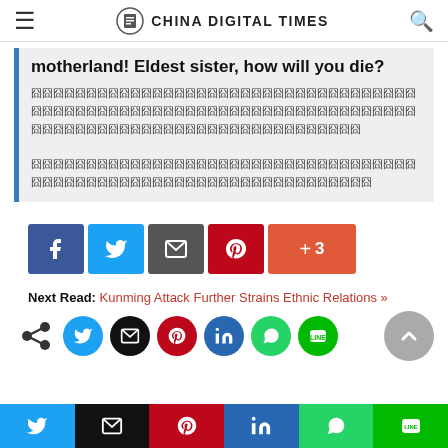CHINA DIGITAL TIMES
motherland! Eldest sister, how will you die?
【Chinese characters — censored/redacted text】
[Figure (screenshot): Social share buttons: Facebook, Twitter, Mail, Pinterest, +3]
Next Read: Kunming Attack Further Strains Ethnic Relations »
[Figure (screenshot): Social share icons row: share, Twitter, email, Pinterest, LinkedIn, WhatsApp, LINE, and scroll-to-top button]
[Figure (screenshot): Bottom toolbar with Twitter, email, Pinterest, LinkedIn, WhatsApp, LINE buttons]